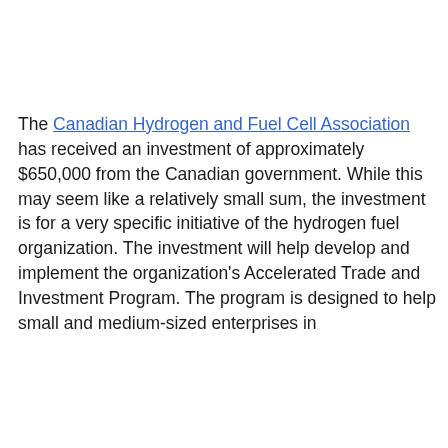The Canadian Hydrogen and Fuel Cell Association has received an investment of approximately $650,000 from the Canadian government. While this may seem like a relatively small sum, the investment is for a very specific initiative of the hydrogen fuel organization. The investment will help develop and implement the organization's Accelerated Trade and Investment Program. The program is designed to help small and medium-sized enterprises in